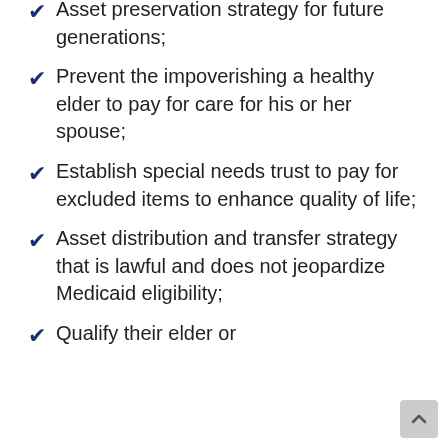Asset preservation strategy for future generations;
Prevent the impoverishing a healthy elder to pay for care for his or her spouse;
Establish special needs trust to pay for excluded items to enhance quality of life;
Asset distribution and transfer strategy that is lawful and does not jeopardize Medicaid eligibility;
Qualify their elder or